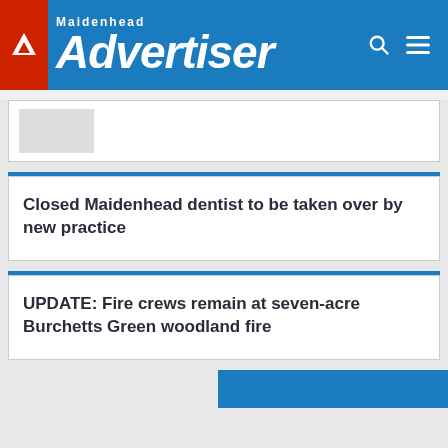Maidenhead Advertiser
Closed Maidenhead dentist to be taken over by new practice
UPDATE: Fire crews remain at seven-acre Burchetts Green woodland fire